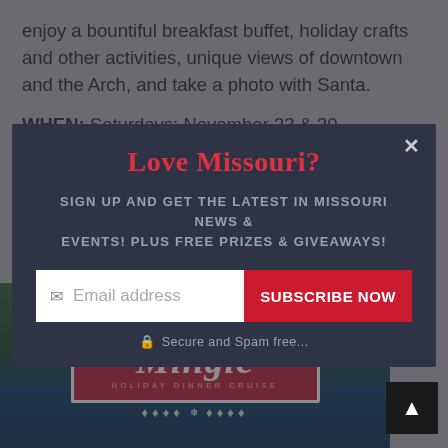enjoy a bountiful breakfast buffet, holiday crafts and other activities, unique views of downtown and the Arch, and take a photo with Santa.
WHEN: Saturdays: November 23 & 30, December 7 & 14. 9:30-
Love Missouri?
SIGN UP AND GET THE LATEST IN MISSOURI NEWS & EVENTS! PLUS FREE PRIZES & GIVEAWAYS!
Email address
SUBSCRIBE NOW
Secure and Spam free...
[Figure (illustration): Holiday Mingle Dinner Cruise promotional badge on festive background with evergreen branches, red stars, and candy canes]
Mingle HOLIDAY DINNER CRUISE